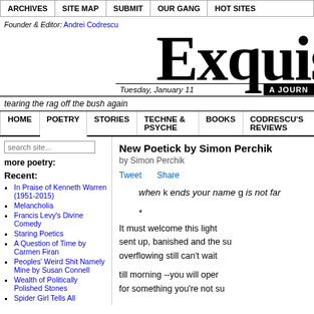ARCHIVES | SITE MAP | SUBMIT | OUR GANG | HOT SITES
Founder & Editor: Andrei Codrescu
Exquis
Tuesday, January 11 | A JOURN
tearing the rag off the bush again
HOME | POETRY | STORIES | TECHNE & PSYCHE | BOOKS | CODRESCU'S REVIEWS
search site...
more poetry:
Recent:
In Praise of Kenneth Warren (1951-2015)
Melancholia
Francis Levy's Divine Comedy
Staring Poetics
A Question of Time by Carmen Firan
Peoples' Weird Shit Namely Mine by Susan Connell
Wealth of Politically Polished Stones
Spider Girl Tells All
New Poetick by Simon Perchik
by Simon Perchik
Tweet    Share
when k ends your name g is not far
*
It must welcome this light sent up, banished and the su overflowing still can't wait
till morning --you will oper for something you're not su